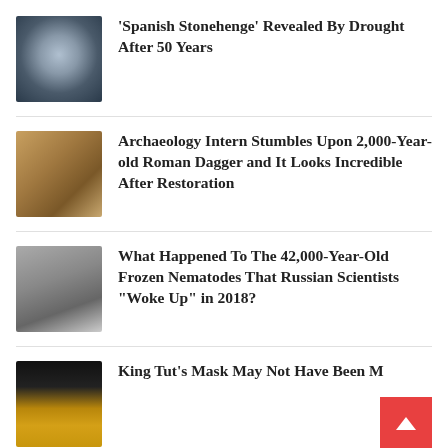[Figure (photo): Aerial view of Dolmen de Guadalperal (Spanish Stonehenge), circular stone structure submerged in water, revealed by drought]
‘Spanish Stonehenge’ Revealed By Drought After 50 Years
[Figure (photo): Close-up of a 2,000-year-old Roman dagger being held, showing the restored metalwork]
Archaeology Intern Stumbles Upon 2,000-Year-old Roman Dagger and It Looks Incredible After Restoration
[Figure (photo): Microscope images of nematodes (roundworms) in grayscale composite]
What Happened To The 42,000-Year-Old Frozen Nematodes That Russian Scientists “Woke Up” in 2018?
[Figure (photo): King Tutankhamun golden death mask against dark background]
King Tut’s Mask May Not Have Been M…